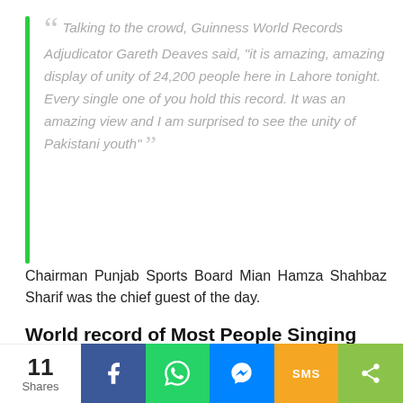Talking to the crowd, Guinness World Records Adjudicator Gareth Deaves said, "it is amazing, amazing display of unity of 24,200 people here in Lahore tonight. Every single one of you hold this record. It was an amazing view and I am surprised to see the unity of Pakistani youth"
Chairman Punjab Sports Board Mian Hamza Shahbaz Sharif was the chief guest of the day.
World record of Most People Singing National Anthem
Earlier on Saturday 20 October, 42,813 Pakistanis have also beaten a 5 years old Indian record by
11 Shares  [Facebook] [WhatsApp] [Messenger] [SMS] [Share]